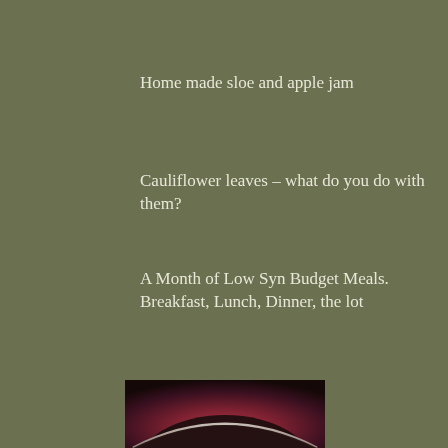Home made sloe and apple jam
Cauliflower leaves – what do you do with them?
A Month of Low Syn Budget Meals. Breakfast, Lunch, Dinner, the lot
[Figure (photo): Partial view of a dark bowl or pot with reddish-purple background, showing curved rim against a dark reddish backdrop]